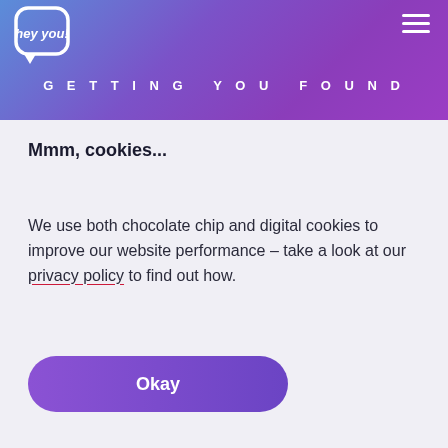[Figure (logo): hey you! logo in white on gradient purple/blue background, speech bubble style]
GETTING YOU FOUND
Mmm, cookies...
We use both chocolate chip and digital cookies to improve our website performance – take a look at our privacy policy to find out how.